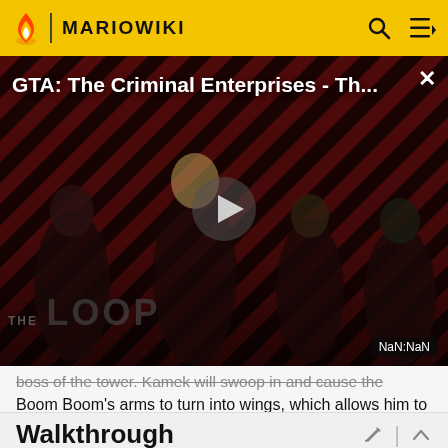MARIOWIKI
[Figure (screenshot): Video thumbnail for 'GTA: The Criminal Enterprises - Th...' showing characters on a red striped background with THE LOOP logo, play button, and NaN:NaN timestamp. Close button (×) top right.]
boss of the tower. Kamek will swoop in and cause the Boom Boom's arms to turn into wings, which allows him to fly and dive into the player.
Walkthrough